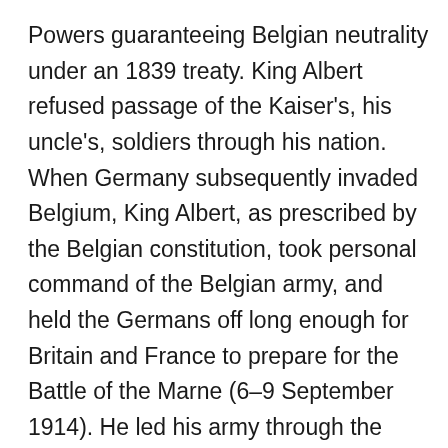Powers guaranteeing Belgian neutrality under an 1839 treaty. King Albert refused passage of the Kaiser's, his uncle's, soldiers through his nation. When Germany subsequently invaded Belgium, King Albert, as prescribed by the Belgian constitution, took personal command of the Belgian army, and held the Germans off long enough for Britain and France to prepare for the Battle of the Marne (6–9 September 1914). He led his army through the Siege of Antwerp and the Battle of the Yser, when the Belgian army was driven back to a last, tiny strip of Belgian territory, near the North Sea. Here the Belgians, in collaboration with the armies of the Triple Entente, took up a war of position, in the trenches behind the River Yser, remaining there for the next four years. During this period, King Albert fought with his troops and shared their dangers, while his wife, Queen Elisabeth, worked as a